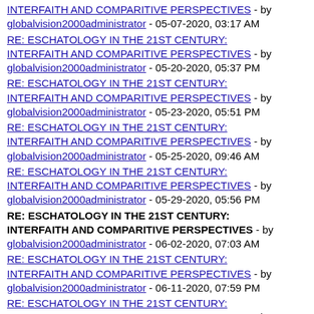INTERFAITH AND COMPARITIVE PERSPECTIVES - by globalvision2000administrator - 05-07-2020, 03:17 AM
RE: ESCHATOLOGY IN THE 21ST CENTURY: INTERFAITH AND COMPARITIVE PERSPECTIVES - by globalvision2000administrator - 05-20-2020, 05:37 PM
RE: ESCHATOLOGY IN THE 21ST CENTURY: INTERFAITH AND COMPARITIVE PERSPECTIVES - by globalvision2000administrator - 05-23-2020, 05:51 PM
RE: ESCHATOLOGY IN THE 21ST CENTURY: INTERFAITH AND COMPARITIVE PERSPECTIVES - by globalvision2000administrator - 05-25-2020, 09:46 AM
RE: ESCHATOLOGY IN THE 21ST CENTURY: INTERFAITH AND COMPARITIVE PERSPECTIVES - by globalvision2000administrator - 05-29-2020, 05:56 PM
RE: ESCHATOLOGY IN THE 21ST CENTURY: INTERFAITH AND COMPARITIVE PERSPECTIVES - by globalvision2000administrator - 06-02-2020, 07:03 AM
RE: ESCHATOLOGY IN THE 21ST CENTURY: INTERFAITH AND COMPARITIVE PERSPECTIVES - by globalvision2000administrator - 06-11-2020, 07:59 PM
RE: ESCHATOLOGY IN THE 21ST CENTURY: INTERFAITH AND COMPARITIVE PERSPECTIVES - by globalvision2000administrator - 06-16-2020, 04:05 PM
RE: ESCHATOLOGY IN THE 21ST CENTURY: INTERFAITH AND COMPARITIVE PERSPECTIVES - by